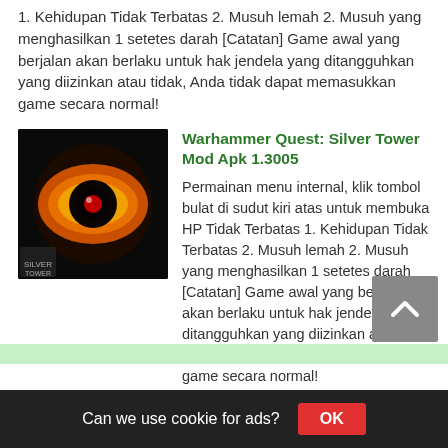1. Kehidupan Tidak Terbatas 2. Musuh lemah 2. Musuh yang menghasilkan 1 setetes darah [Catatan] Game awal yang berjalan akan berlaku untuk hak jendela yang ditangguhkan yang diizinkan atau tidak, Anda tidak dapat memasukkan game secara normal!
[Figure (illustration): Game icon for Warhammer Quest: Silver Tower showing a dark eye with orange and yellow flames against a black background]
Warhammer Quest: Silver Tower Mod Apk 1.3005
Permainan menu internal, klik tombol bulat di sudut kiri atas untuk membuka HP Tidak Terbatas 1. Kehidupan Tidak Terbatas 2. Musuh lemah 2. Musuh yang menghasilkan 1 setetes darah [Catatan] Game awal yang berjalan akan berlaku untuk hak jendela yang ditangguhkan yang diizinkan atau tidak, Anda tidak dapat memasukkan game secara normal!
[Figure (illustration): Game icon for Warhammer Quest: Silver Tower showing a dark eye with orange and yellow flames against a black background]
Warhammer Quest: Silver Tower Mod Apk 1.3004
Can we use cookie for ads?